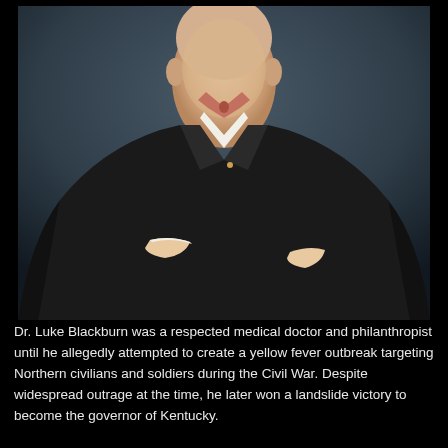[Figure (photo): A painted portrait of Dr. Luke Blackburn, a middle-aged man wearing a dark jacket, white shirt, and salmon/coral bow tie, with his arms folded. The background is a dark grayish-blue. The image is cropped to show head and upper body.]
Dr. Luke Blackburn was a respected medical doctor and philanthropist until he allegedly attempted to create a yellow fever outbreak targeting Northern civilians and soldiers during the Civil War. Despite widespread outrage at the time, he later won a landslide victory to become the governor of Kentucky.